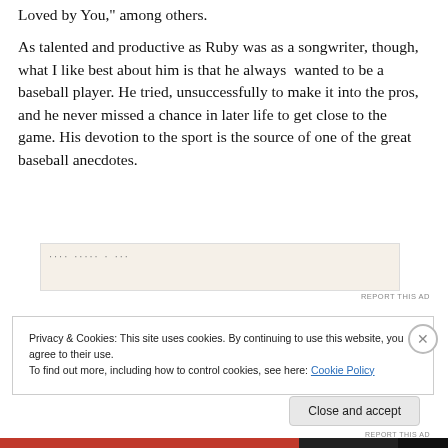Loved by You," among others.
As talented and productive as Ruby was as a songwriter, though, what I like best about him is that he always wanted to be a baseball player. He tried, unsuccessfully to make it into the pros, and he never missed a chance in later life to get close to the game. His devotion to the sport is the source of one of the great baseball anecdotes.
[Figure (other): Ad banner with dotted text overlay and beige background]
REPORT THIS AD
Privacy & Cookies: This site uses cookies. By continuing to use this website, you agree to their use.
To find out more, including how to control cookies, see here: Cookie Policy
Close and accept